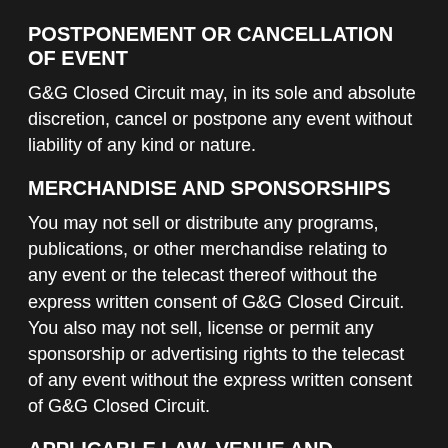POSTPONEMENT OR CANCELLATION OF EVENT
G&G Closed Circuit may, in its sole and absolute discretion, cancel or postpone any event without liability of any kind or nature.
MERCHANDISE AND SPONSORSHIPS
You may not sell or distribute any programs, publications, or other merchandise relating to any event or the telecast thereof without the express written consent of G&G Closed Circuit. You also may not sell, license or permit any sponsorship or advertising rights to the telecast of any event without the express written consent of G&G Closed Circuit.
APPLICABLE LAW, VENUE AND LIMITATION OF ACTIONS
These Terms and Conditions of Sale and your purchase and/or ordering of any event shall be